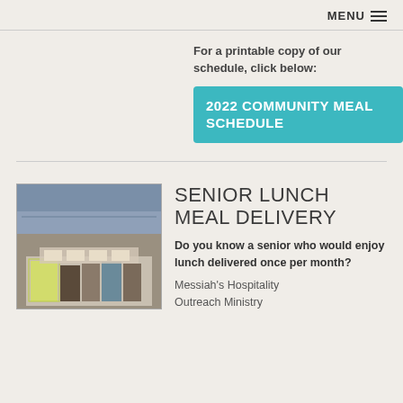MENU
For a printable copy of our schedule, click below:
2022 COMMUNITY MEAL SCHEDULE
[Figure (photo): Volunteers wearing masks and yellow safety vests preparing meal trays on tables indoors]
SENIOR LUNCH MEAL DELIVERY
Do you know a senior who would enjoy lunch delivered once per month? Messiah's Hospitality Outreach Ministry